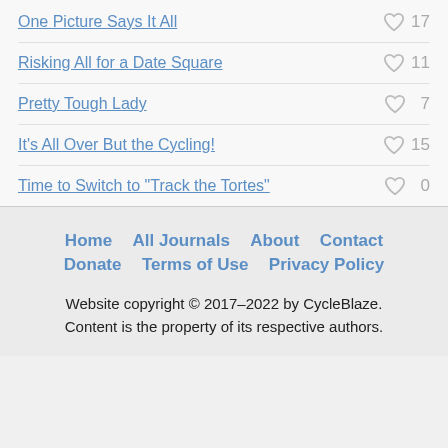One Picture Says It All — 17 likes
Risking All for a Date Square — 11 likes
Pretty Tough Lady — 7 likes
It's All Over But the Cycling! — 15 likes
Time to Switch to "Track the Tortes" — 0 likes
Home  All Journals  About  Contact  Donate  Terms of Use  Privacy Policy
Website copyright © 2017–2022 by CycleBlaze. Content is the property of its respective authors.